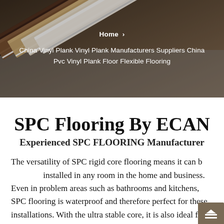[Figure (photo): Close-up photo of multiple SPC/vinyl plank flooring samples fanned out, showing wood-grain textures in various shades from dark brown to light beige/white, on a gray background.]
Home › China Vinyl Plank Vinyl Plank Manufacturers Suppliers China Pvc Vinyl Plank Floor Flexible Flooring
SPC Flooring By ECAN
Experienced SPC FLOORING Manufacturer
The versatility of SPC rigid core flooring means it can be installed in any room in the home and business. Even in problem areas such as bathrooms and kitchens, SPC flooring is waterproof and therefore perfect for these installations. With the ultra stable core, it is also ideal for